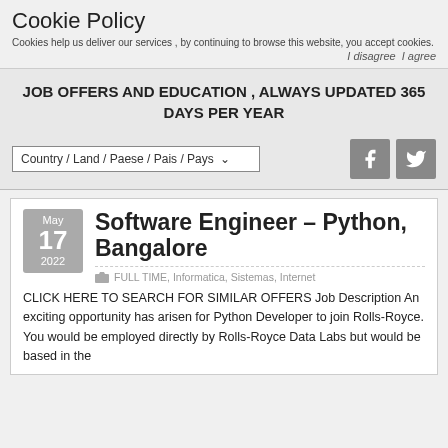Cookie Policy
Cookies help us deliver our services , by continuing to browse this website, you accept cookies.
I disagree  I agree
JOB OFFERS AND EDUCATION , ALWAYS UPDATED 365 DAYS PER YEAR
Country / Land / Paese / Pais / Pays
Software Engineer – Python, Bangalore
May 17 2022
FULL TIME, Informatica, Sistemas, Internet
CLICK HERE TO SEARCH FOR SIMILAR OFFERS Job Description An exciting opportunity has arisen for Python Developer to join Rolls-Royce. You would be employed directly by Rolls-Royce Data Labs but would be based in the